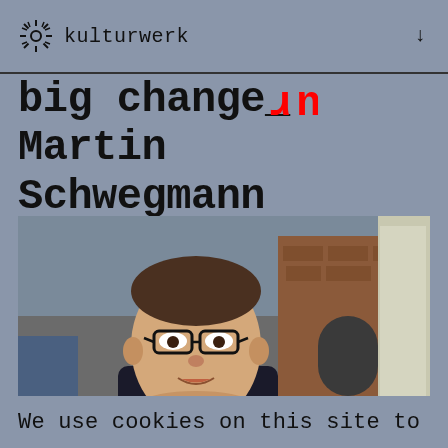kulturwerk ↓
big change_ Martin Schwegmann conversation
[Figure (photo): Man with glasses in dark blazer and white shirt being interviewed, brick building visible in background, rbb watermark in top right corner. Red vertical 'kulturwerk' watermark overlaid.]
We use cookies on this site to